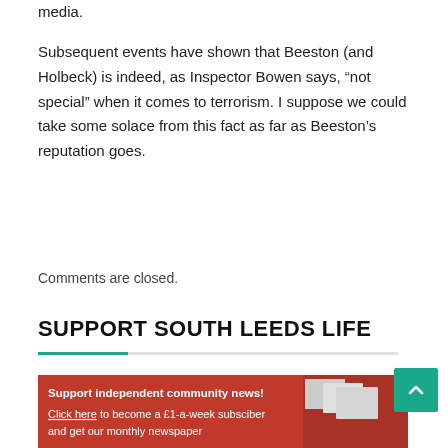media.
Subsequent events have shown that Beeston (and Holbeck) is indeed, as Inspector Bowen says, “not special” when it comes to terrorism. I suppose we could take some solace from this fact as far as Beeston’s reputation goes.
Comments are closed.
SUPPORT SOUTH LEEDS LIFE
[Figure (infographic): Red banner advertisement for South Leeds Life newspaper subscription showing text 'Support independent community news!' and 'Click here to become a £1-a-week subsciber and get our monthly newspaper' with magazine images on the right side.]